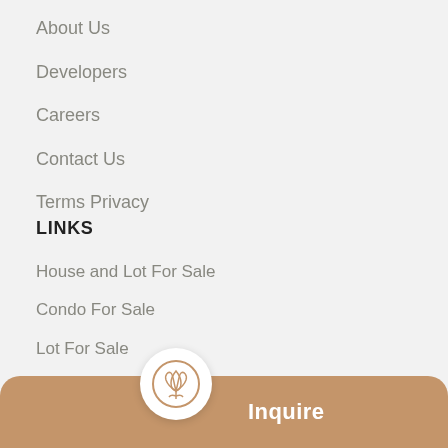About Us
Developers
Careers
Contact Us
Terms Privacy
LINKS
House and Lot For Sale
Condo For Sale
Lot For Sale
Pre-selling House and Lot
Pre-selling Condo
RFO House and Lot
RFO Condo
[Figure (logo): Circular logo with stylized tulip/lotus icon inside, shown on inquire button bar]
Inquire